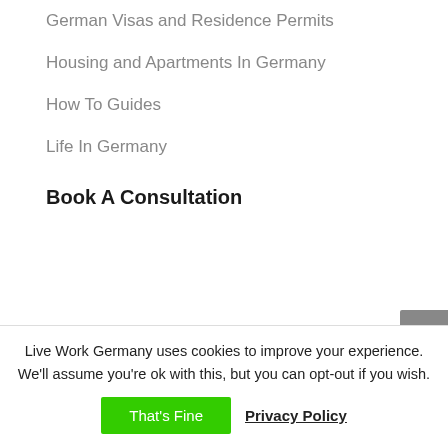German Visas and Residence Permits
Housing and Apartments In Germany
How To Guides
Life In Germany
Book A Consultation
Live Work Germany uses cookies to improve your experience. We'll assume you're ok with this, but you can opt-out if you wish.
That's Fine  Privacy Policy